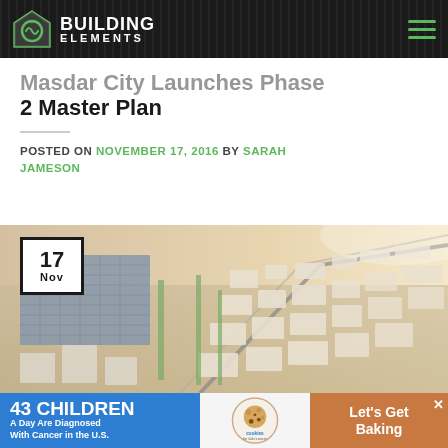BUILDING ELEMENTS
Masdar City Launches Phase 2 Master Plan
POSTED ON NOVEMBER 17, 2016 BY SARAH JAMESON
[Figure (illustration): Aerial rendering of Masdar City master plan showing urban blocks, green spaces, solar panels, and road network from bird's eye view]
[Figure (other): Advertisement banner: 43 Children A Day Are Diagnosed With Cancer in the U.S. - cookies for kids cancer - Let's Get Baking]